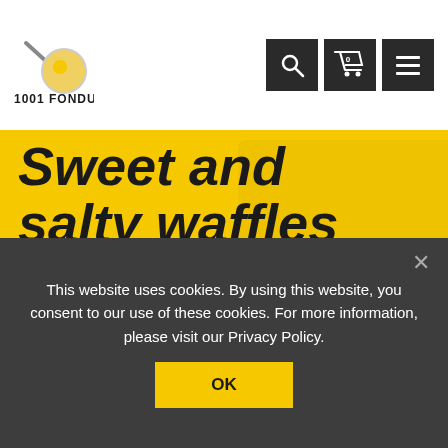[Figure (logo): 1001 Fondues logo with frying pan and text]
[Figure (screenshot): Navigation icons: search (magnifying glass), cart with 0 items, hamburger menu on dark square backgrounds]
Sweet and salty waffles
The sweet and salty combination makes it possible to create the perfect balance of flavours. This waffle recipe does just that!
15 min
15 min
This website uses cookies. By using this website, you consent to our use of these cookies. For more information, please visit our Privacy Policy.
OK